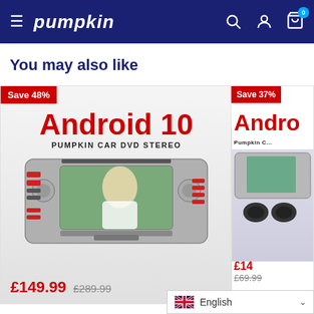Pumpkin - You may also like
You may also like
[Figure (photo): Pumpkin Android 10 Car DVD Stereo product card with Save 48% badge, price £149.99, original price £289.99]
[Figure (photo): Pumpkin Android Car DVD Stereo product card (partially visible) with Save 37% badge, partially visible price cut to £69.99]
£149.99  £289.99
Save 48%
Save 37%
English